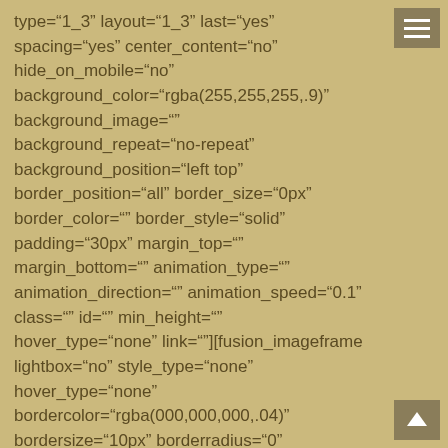type="1_3" layout="1_3" last="yes" spacing="yes" center_content="no" hide_on_mobile="no" background_color="rgba(255,255,255,.9)" background_image="" background_repeat="no-repeat" background_position="left top" border_position="all" border_size="0px" border_color="" border_style="solid" padding="30px" margin_top="" margin_bottom="" animation_type="" animation_direction="" animation_speed="0.1" class="" id="" min_height="" hover_type="none" link=""][fusion_imageframe lightbox="no" style_type="none" hover_type="none" bordercolor="rgba(000,000,000,.04)" bordersize="10px" borderradius="0" align="center" linktarget="_self" animation_type="0" animation_direction="down" animation_speed="1" hide_on_mobile="no"]
[image]Amazing Customer Support[/fusion_imageframe]
[fusion_separator style_type="none" top_margin="12"